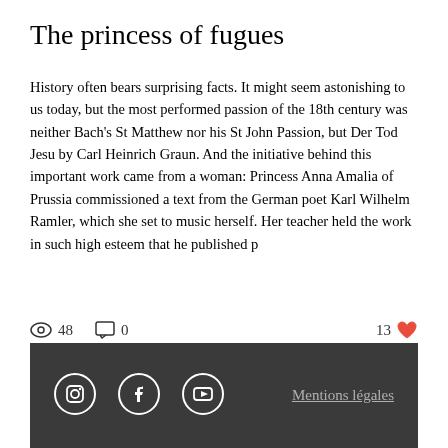The princess of fugues
History often bears surprising facts. It might seem astonishing to us today, but the most performed passion of the 18th century was neither Bach's St Matthew nor his St John Passion, but Der Tod Jesu by Carl Heinrich Graun. And the initiative behind this important work came from a woman: Princess Anna Amalia of Prussia commissioned a text from the German poet Karl Wilhelm Ramler, which she set to music herself. Her teacher held the work in such high esteem that he published p
48  0  13
Mentions légales